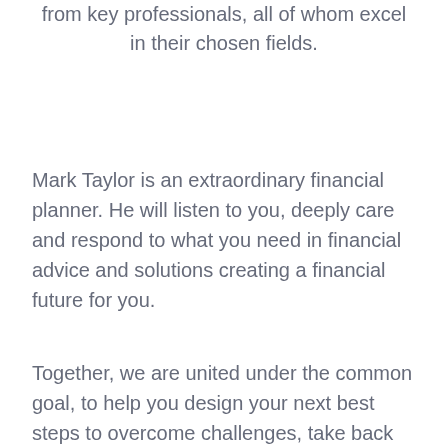from key professionals, all of whom excel in their chosen fields.
Mark Taylor is an extraordinary financial planner. He will listen to you, deeply care and respond to what you need in financial advice and solutions creating a financial future for you.
Together, we are united under the common goal, to help you design your next best steps to overcome challenges, take back